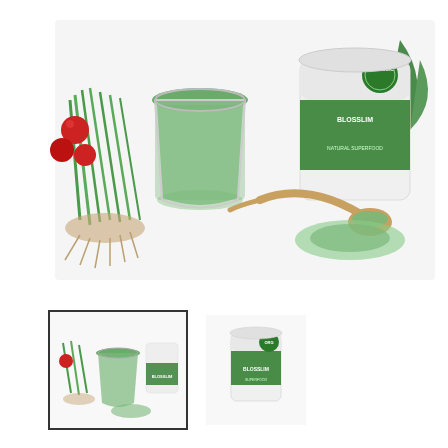[Figure (photo): Product photo showing green superfood powder drink in a glass, wheatgrass, berries, and a white container of Blossom Slim green superfood powder with a wooden spoon]
[Figure (photo): Thumbnail 1 (selected, with border): Blossom Slim product with wheatgrass, berries, green drink, and powder container]
[Figure (photo): Thumbnail 2: Blossom Slim white container product photo]
Blossom Green Superfoods 300g | Blossom Green Superfoods (300g)